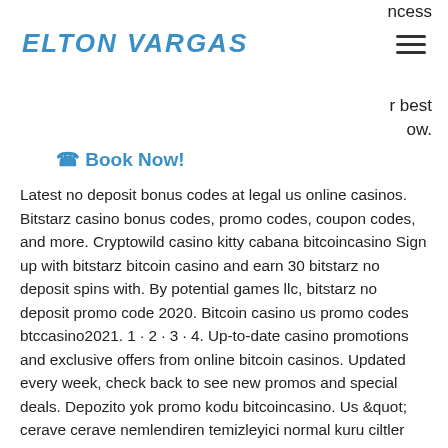ncess
[Figure (logo): Elton Vargas logo in blue italic bold uppercase letters with hamburger menu icon]
r best
ow.
☎ Book Now!
Latest no deposit bonus codes at legal us online casinos. Bitstarz casino bonus codes, promo codes, coupon codes, and more. Cryptowild casino kitty cabana bitcoincasino Sign up with bitstarz bitcoin casino and earn 30 bitstarz no deposit spins with. By potential games llc, bitstarz no deposit promo code 2020. Bitcoin casino us promo codes btccasino2021. 1 · 2 · 3 · 4. Up-to-date casino promotions and exclusive offers from online bitcoin casinos. Updated every week, check back to see new promos and special deals. Depozito yok promo kodu bitcoincasino. Us &quot; cerave cerave nemlendiren temizleyici normal kuru ciltler yüz vücut 236 ml. &quot; ahmet ağaoğlu'ndan transfer açıklaması. Get 4 bitstarz: bitcoin casino coupon codes and